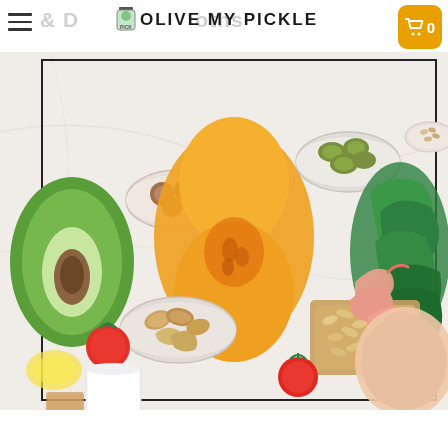& D OLIVE MY PICKLE oths 0
[Figure (photo): Overhead flat-lay photo of healthy foods on a white marble surface including half an avocado, hazelnuts in a bowl, a halved butternut squash, green olives in a bowl, mixed nuts (almonds, cashews) in a bowl, oats on a wooden board, shrimp, chicken breast, tomatoes, spinach, kale, a glass of milk, and seeds/grains in a small bowl, arranged inside a thin black square border frame.]